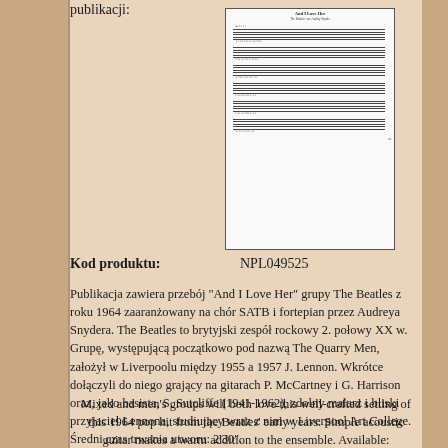publikacji:
[Figure (illustration): Sheet music thumbnail showing musical notation for 'And I Love Her' arranged for SATB choir and piano]
Kod produktu: NPL049525
Publikacja zawiera przebój "And I Love Her" grupy The Beatles z roku 1964 zaaranżowany na chór SATB i fortepian przez Audreya Snydera. The Beatles to brytyjski zespół rockowy 2. połowy XX w. Grupę, występującą początkowo pod nazwą The Quarry Men, założył w Liverpoolu między 1955 a 1957 J. Lennon. Wkrótce dołączyli do niego grający na gitarach P. McCartney i G. Harrison oraz, jako basista, S. Sutcliffe (1941-1962), zdolny malarz i bliski przyjaciel Lennona, studiujący wraz z nim w Liverpool Art College. Średni czas trwania utworu: 2'30".
Mixed and men's groups will both love this well-crafted setting of this 1964 pop hit from the Beatles' early years. Simple acoustic guitar makes a warm addition to the ensemble. Available: